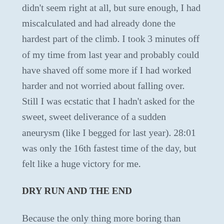didn't seem right at all, but sure enough, I had miscalculated and had already done the hardest part of the climb. I took 3 minutes off of my time from last year and probably could have shaved off some more if I had worked harder and not worried about falling over. Still I was ecstatic that I hadn't asked for the sweet, sweet deliverance of a sudden aneurysm (like I begged for last year). 28:01 was only the 16th fastest time of the day, but felt like a huge victory for me.
DRY RUN AND THE END
Because the only thing more boring than writing about seven timed climbs is reading about them, I will spare you the excruciating details and just say that I felt the best I